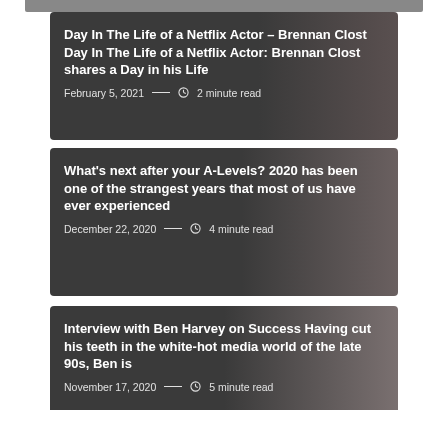Day In The Life of a Netflix Actor – Brennan Clost Day In The Life of a Netflix Actor: Brennan Clost shares a Day in his Life
February 5, 2021 — 2 minute read
What's next after your A-Levels? 2020 has been one of the strangest years that most of us have ever experienced
December 22, 2020 — 4 minute read
Interview with Ben Harvey on Success Having cut his teeth in the white-hot media world of the late 90s, Ben is
November 17, 2020 — 5 minute read